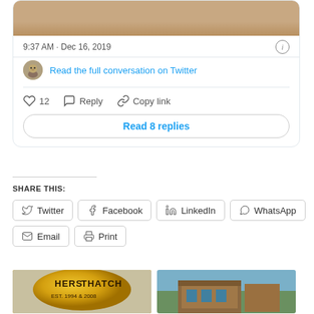[Figure (screenshot): Top portion of a Twitter embedded tweet card showing a cropped animal photo (tan/brown fur)]
9:37 AM · Dec 16, 2019
Read the full conversation on Twitter
♡ 12   Reply   Copy link
Read 8 replies
SHARE THIS:
Twitter
Facebook
LinkedIn
WhatsApp
Email
Print
[Figure (photo): Yellow balloon with text CHERS THATCH visible]
[Figure (photo): Brick building exterior with trees]